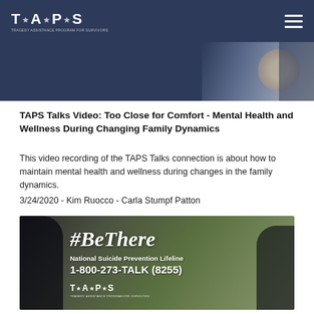[Figure (logo): TAPS logo in white on dark navy navigation bar, with hamburger menu icon on the right]
[Figure (photo): Partial photo strip showing dark blue background with partial image of people on the right side]
TAPS Talks Video: Too Close for Comfort - Mental Health and Wellness During Changing Family Dynamics
This video recording of the TAPS Talks connection is about how to maintain mental health and wellness during changes in the family dynamics.
3/24/2020 - Kim Ruocco - Carla Stumpf Patton
[Figure (photo): #BeThere National Suicide Prevention Lifeline 1-800-273-TALK (8255) image with TAPS logo, showing two people in caps giving high five, green nature background]